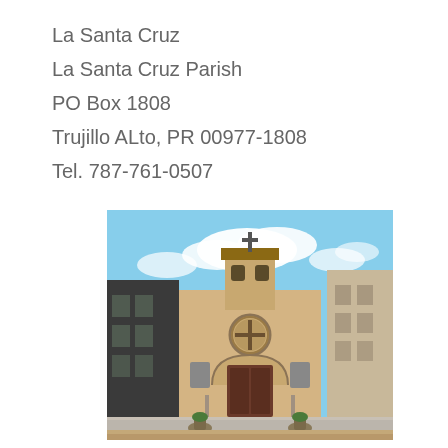La Santa Cruz
La Santa Cruz Parish
PO Box 1808
Trujillo ALto, PR 00977-1808
Tel. 787-761-0507
[Figure (photo): Exterior photograph of La Santa Cruz Parish church in Trujillo Alto, Puerto Rico. The church has a tan/beige facade with a bell tower topped by a cross, a circular stained glass window with a cross motif, an arched entrance door, and wide stone steps leading up to the entrance. Modern buildings are visible on both sides, and a partly cloudy blue sky is in the background.]